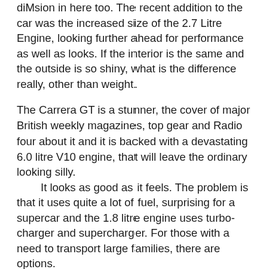diMsion in here too. The recent addition to the car was the increased size of the 2.7 Litre Engine, looking further ahead for performance as well as looks. If the interior is the same and the outside is so shiny, what is the difference really, other than weight.
The Carrera GT is a stunner, the cover of major British weekly magazines, top gear and Radio four about it and it is backed with a devastating 6.0 litre V10 engine, that will leave the ordinary looking silly. It looks as good as it feels. The problem is that it uses quite a lot of fuel, surprising for a supercar and the 1.8 litre engine uses turbo-charger and supercharger. For those with a need to transport large families, there are options.
All of a sudden the Carrera starts to look old and out of date, as the Cell or rabbit hide from the aforementioned S and GAs in the trailers is beginning